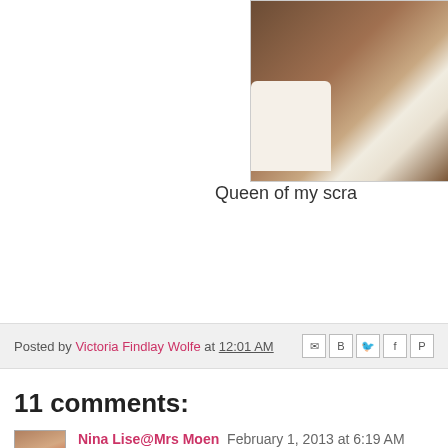[Figure (photo): Partial photo showing a white/cream colored storage bin or container corner against a brown background (possibly fabric or wood paneling)]
Queen of my scra
Posted by Victoria Findlay Wolfe at 12:01 AM
11 comments:
Nina Lise@Mrs Moen February 1, 2013 at 6:19 AM
I am totally fascinated by the pattern of your quilt, ov...